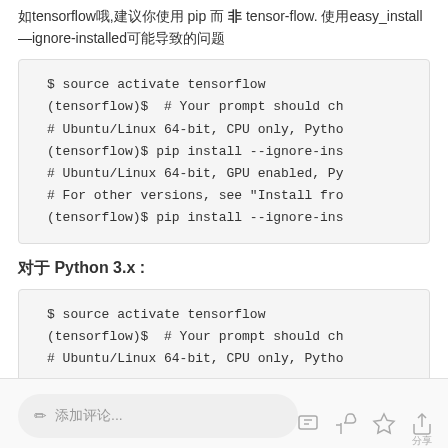如tensorflow哦,建议你使用 pip 而 ​非​ tensor-flow. 使用easy_install​–ignore-installed可能导致的问题
[Figure (screenshot): Code block showing shell commands: $ source activate tensorflow, (tensorflow)$  # Your prompt should ch..., # Ubuntu/Linux 64-bit, CPU only, Pytho..., (tensorflow)$ pip install --ignore-ins..., # Ubuntu/Linux 64-bit, GPU enabled, Py..., # For other versions, see "Install fro..., (tensorflow)$ pip install --ignore-ins...]
对于 Python 3.x :
[Figure (screenshot): Code block showing shell commands: $ source activate tensorflow, (tensorflow)$  # Your prompt should ch..., # Ubuntu/Linux 64-bit, CPU only, Pytho...]